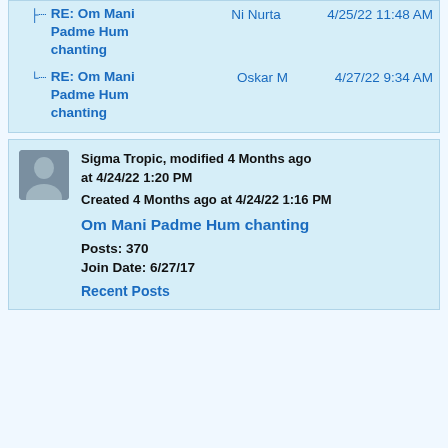RE: Om Mani Padme Hum chanting — Ni Nurta — 4/25/22 11:48 AM
RE: Om Mani Padme Hum chanting — Oskar M — 4/27/22 9:34 AM
Sigma Tropic, modified 4 Months ago at 4/24/22 1:20 PM
Created 4 Months ago at 4/24/22 1:16 PM
Om Mani Padme Hum chanting
Posts: 370
Join Date: 6/27/17
Recent Posts